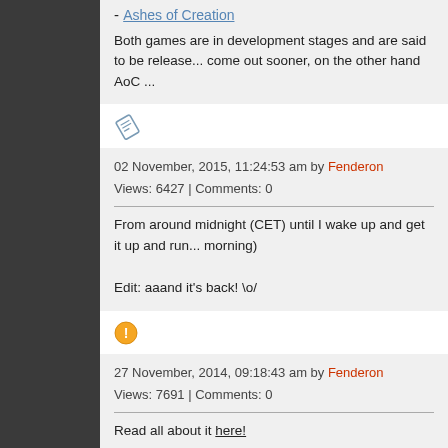- Ashes of Creation
Both games are in development stages and are said to be release... come out sooner, on the other hand AoC ...
[Figure (illustration): Diamond/document icon (pencil/note icon in blue-gray outline)]
02 November, 2015, 11:24:53 am by Fenderon
Views: 6427 | Comments: 0
From around midnight (CET) until I wake up and get it up and run... morning)

Edit: aaand it's back! \o/
[Figure (illustration): Yellow warning/exclamation icon circle]
27 November, 2014, 09:18:43 am by Fenderon
Views: 7691 | Comments: 0
Read all about it here!